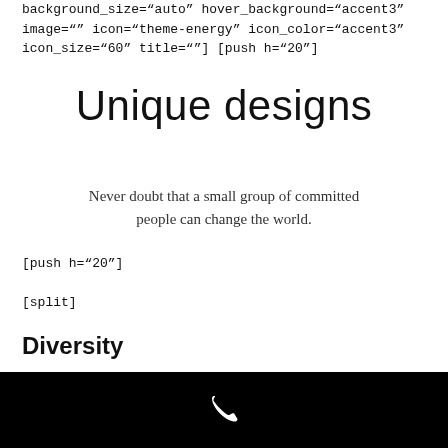background_size="auto" hover_background="accent3" image="" icon="theme-energy" icon_color="accent3" icon_size="60" title=""] [push h="20"]
Unique designs
Never doubt that a small group of committed people can change the world.
[push h="20"]
[split]
Diversity
[Figure (other): Black footer bar with white phone icon in center]